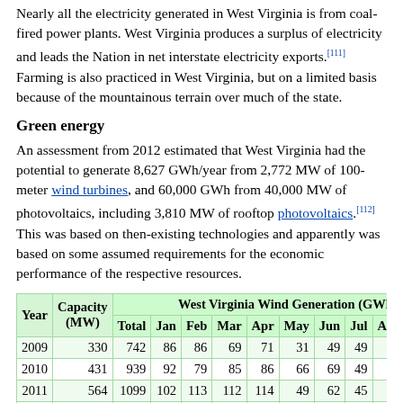Nearly all the electricity generated in West Virginia is from coal-fired power plants. West Virginia produces a surplus of electricity and leads the Nation in net interstate electricity exports.[111] Farming is also practiced in West Virginia, but on a limited basis because of the mountainous terrain over much of the state.
Green energy
An assessment from 2012 estimated that West Virginia had the potential to generate 8,627 GWh/year from 2,772 MW of 100-meter wind turbines, and 60,000 GWh from 40,000 MW of photovoltaics, including 3,810 MW of rooftop photovoltaics.[112] This was based on then-existing technologies and apparently was based on some assumed requirements for the economic performance of the respective resources.
| Year | Capacity (MW) | Total | Jan | Feb | Mar | Apr | May | Jun | Jul | Aug | Sept | O… |
| --- | --- | --- | --- | --- | --- | --- | --- | --- | --- | --- | --- | --- |
| 2009 | 330 | 742 | 86 | 86 | 69 | 71 | 31 | 49 | 49 | 32 | 46 | 7… |
| 2010 | 431 | 939 | 92 | 79 | 85 | 86 | 66 | 69 | 49 | 33 | 66 | 11… |
| 2011 | 564 | 1099 | 102 | 113 | 112 | 114 | 49 | 62 | 45 | 68 | 60 | 12… |
| 2012 | 583 | 1286 | 201 | 147 | 136 | 130 | 59 | 90 | 85 | 41 | 65 | 9… |